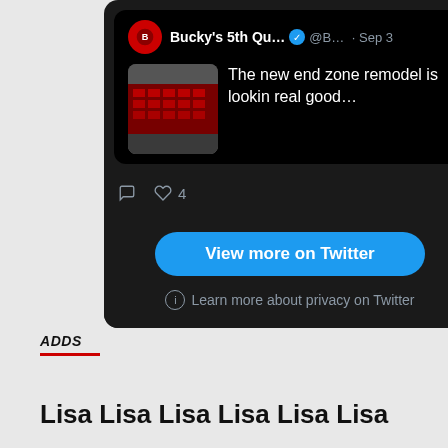[Figure (screenshot): Embedded Twitter/X widget showing a tweet from 'Bucky's 5th Qu...' (@B...) dated Sep 3, with text 'The new end zone remodel is lookin real good…', a thumbnail image of stadium seating. Actions show comment and 4 likes icons. Below the tweet card is a 'View more on Twitter' blue button and 'Learn more about privacy on Twitter' text.]
ADDS
Lisa Lisa Lisa Lisa Lisa Lisa